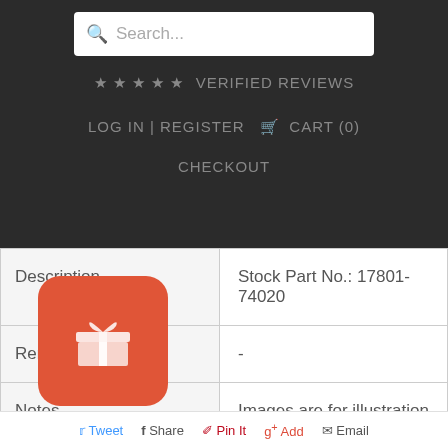Search... ★★★★★ VERIFIED REVIEWS LOG IN | REGISTER 🛒 CART (0) CHECKOUT
| Description | Stock Part No.: 17801-74020 |
| Remarks | - |
| Notes | Images are for illustration purpose only. Actual product may vary. |
[Figure (illustration): Red rounded-square gift/rewards button with gift box icon]
Tweet  Share  Pin It  Add  Email